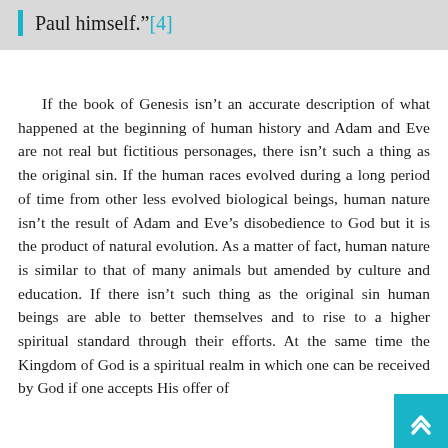Paul himself."[4]
If the book of Genesis isn't an accurate description of what happened at the beginning of human history and Adam and Eve are not real but fictitious personages, there isn't such a thing as the original sin. If the human races evolved during a long period of time from other less evolved biological beings, human nature isn't the result of Adam and Eve's disobedience to God but it is the product of natural evolution. As a matter of fact, human nature is similar to that of many animals but amended by culture and education. If there isn't such thing as the original sin human beings are able to better themselves and to rise to a higher spiritual standard through their efforts. At the same time the Kingdom of God is a spiritual realm in which one can be received by God if one accepts His offer of